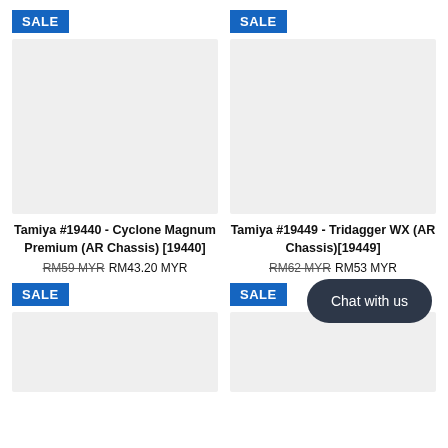[Figure (other): SALE badge blue top-left product 1]
[Figure (other): SALE badge blue top-right product 2]
[Figure (photo): Product image placeholder grey box - Tamiya Cyclone Magnum Premium AR Chassis]
[Figure (photo): Product image placeholder grey box - Tamiya Tridagger WX AR Chassis]
Tamiya #19440 - Cyclone Magnum Premium (AR Chassis) [19440]
RM59 MYR RM43.20 MYR
Tamiya #19449 - Tridagger WX (AR Chassis)[19449]
RM62 MYR RM53 MYR
[Figure (other): SALE badge blue bottom-left product 3]
[Figure (other): SALE badge blue bottom-right product 4]
[Figure (photo): Product image placeholder grey box - bottom left product]
[Figure (other): Chat with us button dark rounded pill shape]
Chat with us